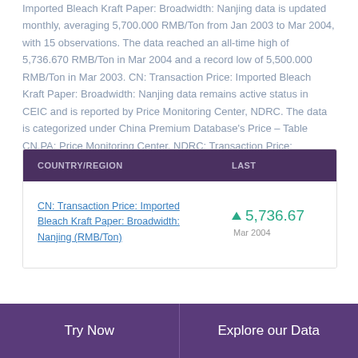Imported Bleach Kraft Paper: Broadwidth: Nanjing data is updated monthly, averaging 5,700.000 RMB/Ton from Jan 2003 to Mar 2004, with 15 observations. The data reached an all-time high of 5,736.670 RMB/Ton in Mar 2004 and a record low of 5,500.000 RMB/Ton in Mar 2003. CN: Transaction Price: Imported Bleach Kraft Paper: Broadwidth: Nanjing data remains active status in CEIC and is reported by Price Monitoring Center, NDRC. The data is categorized under China Premium Database's Price – Table CN.PA: Price Monitoring Center, NDRC: Transaction Price: Production Material: Paper.
| COUNTRY/REGION | LAST |
| --- | --- |
| CN: Transaction Price: Imported Bleach Kraft Paper: Broadwidth: Nanjing (RMB/Ton) | ▲ 5,736.67
Mar 2004 |
Try Now   Explore our Data